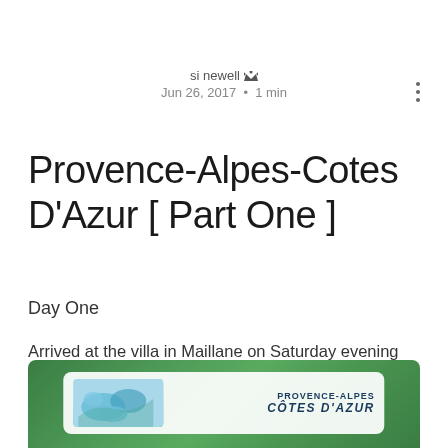si newell · Jun 26, 2017 · 1 min
Provence-Alpes-Cotes D'Azur [ Part One ]
Day One
Arrived at the villa in Maillane on Saturday evening after a flight to Avignon and a taxi ride. Had a relaxing Sunday around the pool with the family – high thirties weather wise :)
[Figure (photo): Partial view of a Provence-Alpes-Côtes d'Azur regional welcome sign/card, showing a map with blue/teal watercolor region highlights and the region name in bold uppercase text, set against a green leafy background.]